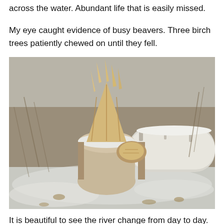across the water. Abundant life that is easily missed.
My eye caught evidence of busy beavers. Three birch trees patiently chewed on until they fell.
[Figure (photo): A birch tree that has been chewed down by beavers. The stump shows the characteristic pointed, gnawed top with wood shards sticking up. The fallen tree trunk lies to the right. Snow covers the ground and the tops of the stump and log. Dry leaves and bare brush are visible in the background.]
It is beautiful to see the river change from day to day. Here